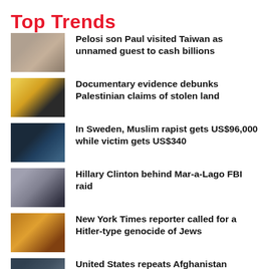Top Trends
Pelosi son Paul visited Taiwan as unnamed guest to cash billions
Documentary evidence debunks Palestinian claims of stolen land
In Sweden, Muslim rapist gets US$96,000 while victim gets US$340
Hillary Clinton behind Mar-a-Lago FBI raid
New York Times reporter called for a Hitler-type genocide of Jews
United States repeats Afghanistan blunder in Ukraine
Dubai's B2 Discotheque emerges into an epicenter of prostitutes